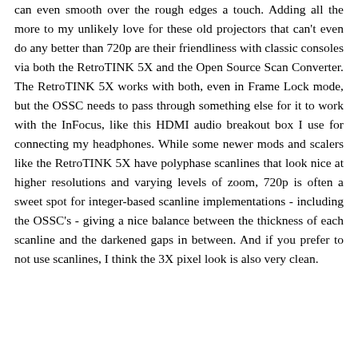can even smooth over the rough edges a touch. Adding all the more to my unlikely love for these old projectors that can't even do any better than 720p are their friendliness with classic consoles via both the RetroTINK 5X and the Open Source Scan Converter. The RetroTINK 5X works with both, even in Frame Lock mode, but the OSSC needs to pass through something else for it to work with the InFocus, like this HDMI audio breakout box I use for connecting my headphones. While some newer mods and scalers like the RetroTINK 5X have polyphase scanlines that look nice at higher resolutions and varying levels of zoom, 720p is often a sweet spot for integer-based scanline implementations - including the OSSC's - giving a nice balance between the thickness of each scanline and the darkened gaps in between. And if you prefer to not use scanlines, I think the 3X pixel look is also very clean.